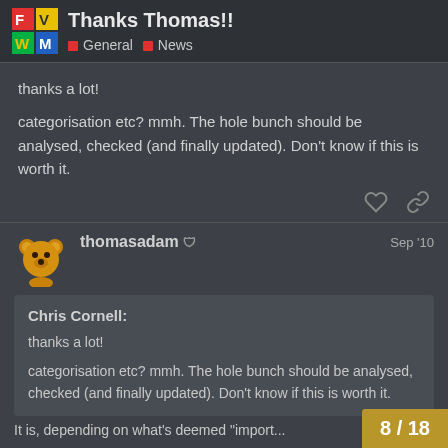Thanks Thomas!! — General • News
thanks a lot!
categorisation etc? mmh. The hole bunch should be analysed, checked (and finally updated). Don't know if this is worth it.
thomasadam  Sep '10
Chris Cornell:
thanks a lot!
categorisation etc? mmh. The hole bunch should be analysed, checked (and finally updated). Don't know if this is worth it.
8 / 18
It is, depending on what's deemed "import...